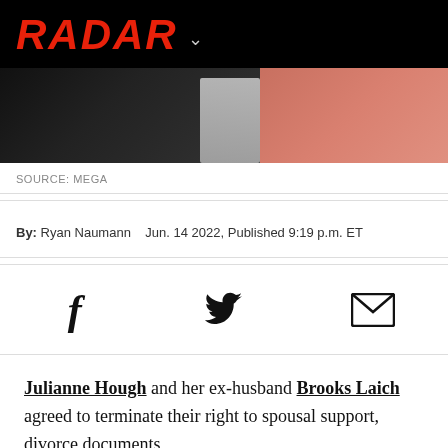[Figure (photo): Radar Online logo on black header bar with chevron dropdown icon, followed by a cropped photo showing a man in dark clothing and a woman with blonde hair in a pink/red outfit against a dark background]
SOURCE: MEGA
By: Ryan Naumann   Jun. 14 2022, Published 9:19 p.m. ET
[Figure (infographic): Social sharing icons: Facebook (f), Twitter (bird), and Email (envelope)]
Julianne Hough and her ex-husband Brooks Laich agreed to terminate their right to spousal support, divorce documents